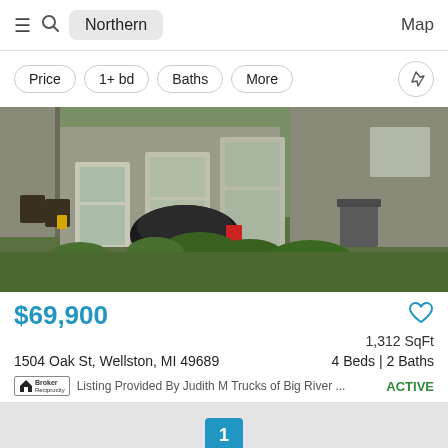Northern | Map
Price
1+ bd
Baths
More
[Figure (photo): Exterior photo of a weathered house with garden area, adirondack chairs, covered grill, overgrown plants and stone path]
$69,900
1,312 SqFt
1504 Oak St, Wellston, MI 49689
4 Beds | 2 Baths
Listing Provided By Judith M Trucks of Big River ...
ACTIVE
1
1 - 34 of 34 Listings shown on map